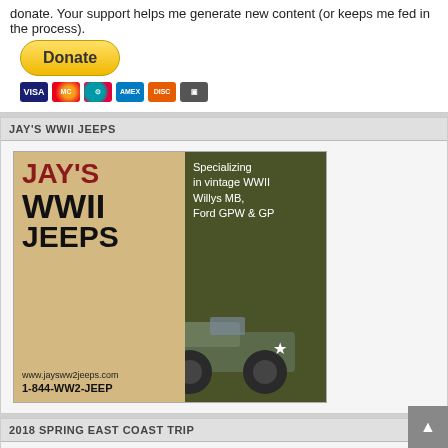donate. Your support helps me generate new content (or keeps me fed in the process).
[Figure (other): Yellow Donate button with PayPal and credit card icons (Visa, Mastercard, Maestro, Amex, Discover, another card)]
JAY'S WWII JEEPS
[Figure (other): Jay's WWII Jeeps advertisement showing the logo text on tan background (JAY'S WWII JEEPS, www.jaysww2jeeps.com, 1-844-WW2-JEEP) and right side olive/dark green background with text 'Specializing in vintage WWII Willys MB, Ford GPW & GP' and a WWII military jeep photo with a white star.]
2018 SPRING EAST COAST TRIP
[Figure (map): Map preview showing east coast geography with blue water and green land areas]